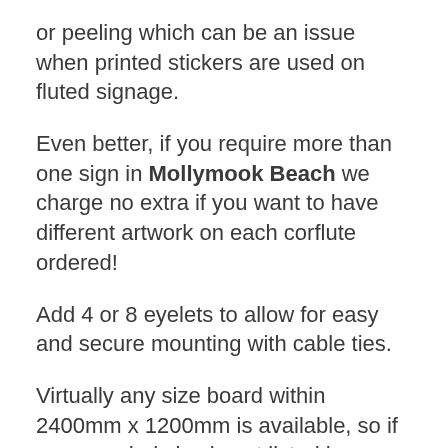or peeling which can be an issue when printed stickers are used on fluted signage.
Even better, if you require more than one sign in Mollymook Beach we charge no extra if you want to have different artwork on each corflute ordered!
Add 4 or 8 eyelets to allow for easy and secure mounting with cable ties.
Virtually any size board within 2400mm x 1200mm is available, so if your needed size is not listed here, please contact us for a custom quote.
Because of the wide format nature of this product, shipping times can change significantly depending on your location. We will confirm shipping times at check out, or you can contact us for an estimated turn around time before ordering.